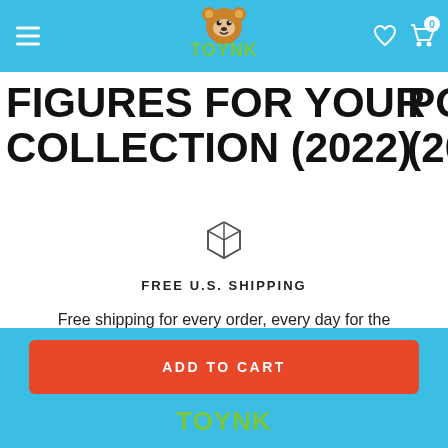Toynk
FIGURES FOR YOUR COLLECTION (2022)
[Figure (illustration): Box/package icon (outline of a 3D cube/box)]
FREE U.S. SHIPPING
Free shipping for every order, every day for the contiguous U.S.
ADD TO CART